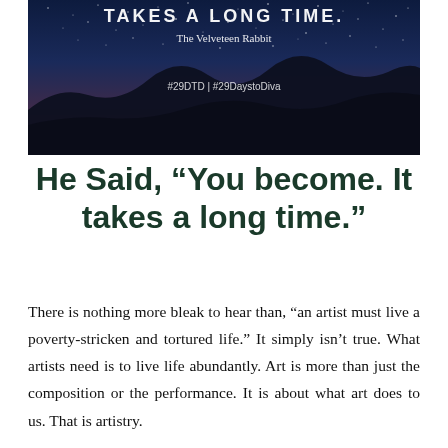[Figure (photo): Night sky photo with starry dark blue sky and silhouetted mountain ridgeline. White text overlaid reads 'TAKES A LONG TIME.' and below it 'The Velveteen Rabbit', and lower '#29DTD | #29DaystoDiva']
He Said, “You become. It takes a long time.”
There is nothing more bleak to hear than, “an artist must live a poverty-stricken and tortured life.” It simply isn’t true. What artists need is to live life abundantly. Art is more than just the composition or the performance. It is about what art does to us. That is artistry.